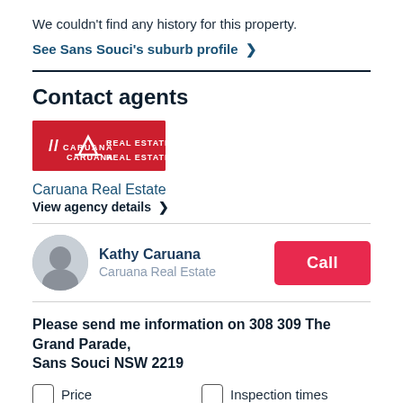We couldn't find any history for this property.
See Sans Souci's suburb profile >
Contact agents
[Figure (logo): Caruana Real Estate logo — red background with white mountain/chevron icon and text CARUANA REAL ESTATE]
Caruana Real Estate
View agency details >
Kathy Caruana
Caruana Real Estate
Call
Please send me information on 308 309 The Grand Parade, Sans Souci NSW 2219
Price
Inspection times